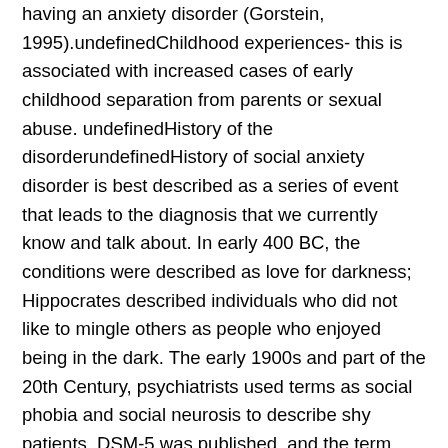having an anxiety disorder (Gorstein, 1995).undefinedChildhood experiences- this is associated with increased cases of early childhood separation from parents or sexual abuse. undefinedHistory of the disorderundefinedHistory of social anxiety disorder is best described as a series of event that leads to the diagnosis that we currently know and talk about. In early 400 BC, the conditions were described as love for darkness; Hippocrates described individuals who did not like to mingle others as people who enjoyed being in the dark. The early 1900s and part of the 20th Century, psychiatrists used terms as social phobia and social neurosis to describe shy patients. DSM-5 was published, and the term social anxiety disorder replaced social phobia. Doctors used his term to show that the disorder is abroad term (Bandelow, 2004).undefinedTreatment OptionsundefinedIf one is diagnosed with social anxiety disorder, he or she can receive treatment from a doctor through prescribed medication. A counselor or a doctor who is trained to treat this type of disorder can help the patient to become more comfortable in social gatherings. There is no surgical